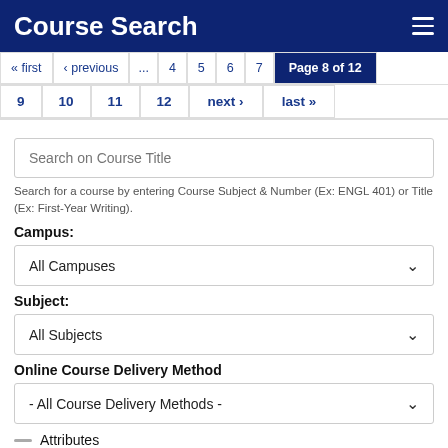Course Search
« first ‹ previous ... 4 5 6 7 Page 8 of 12 9 10 11 12 next › last »
[Figure (screenshot): Search on Course Title text input box]
Search for a course by entering Course Subject & Number (Ex: ENGL 401) or Title (Ex: First-Year Writing).
Campus:
All Campuses
Subject:
All Subjects
Online Course Delivery Method
- All Course Delivery Methods -
Attributes